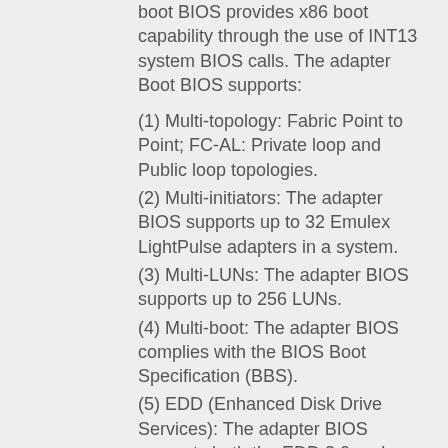boot BIOS provides x86 boot capability through the use of INT13 system BIOS calls. The adapter Boot BIOS supports:
(1) Multi-topology: Fabric Point to Point; FC-AL: Private loop and Public loop topologies.
(2) Multi-initiators: The adapter BIOS supports up to 32 Emulex LightPulse adapters in a system.
(3) Multi-LUNs: The adapter BIOS supports up to 256 LUNs.
(4) Multi-boot: The adapter BIOS complies with the BIOS Boot Specification (BBS).
(5) EDD (Enhanced Disk Drive Services): The adapter BIOS supports both the EDD 3.0 and EDD 2.1 specifications depending on the selection in the adapter BIOS configuration utility.
(6) Boot fail over feature: There are eight boot entries that can be configured in the adapter BIOS configuration utility. If the first boot